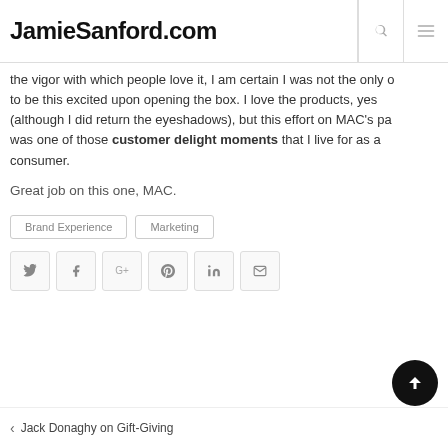JamieSanford.com
the vigor with which people love it, I am certain I was not the only one to be this excited upon opening the box. I love the products, yes (although I did return the eyeshadows), but this effort on MAC's part was one of those customer delight moments that I live for as a consumer.
Great job on this one, MAC.
Brand Experience
Marketing
[Figure (other): Social share buttons: Twitter, Facebook, Google+, Pinterest, LinkedIn, Email]
[Figure (other): Scroll to top button (circular black button with up arrow)]
< Jack Donaghy on Gift-Giving